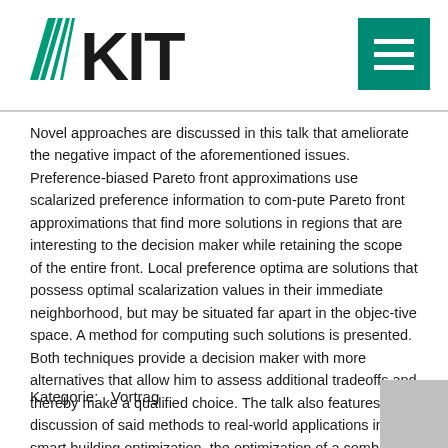KIT logo and menu icon
Novel approaches are discussed in this talk that ameliorate the negative impact of the aforementioned issues. Preference-biased Pareto front approximations use scalarized preference information to com-pute Pareto front approximations that find more solutions in regions that are interesting to the decision maker while retaining the scope of the entire front. Local preference optima are solutions that possess optimal scalarization values in their immediate neighborhood, but may be situated far apart in the objec-tive space. A method for computing such solutions is presented. Both techniques provide a decision maker with more alternatives that allow him to assess additional tradeoffs and thereby make a qualified choice. The talk also features a discussion of said methods to real-world applications in smart building optimization, the optimization of a combined heat and power plant and windmill placement.
Kategorie:   Vortrag